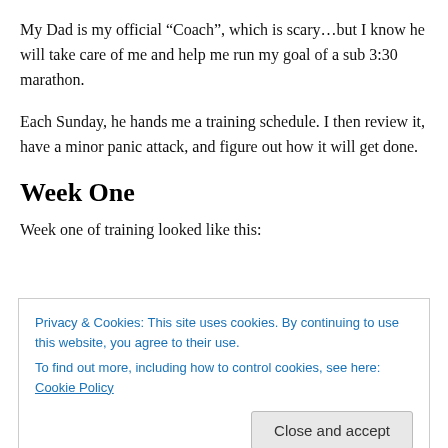My Dad is my official “Coach”, which is scary…but I know he will take care of me and help me run my goal of a sub 3:30 marathon.
Each Sunday, he hands me a training schedule. I then review it, have a minor panic attack, and figure out how it will get done.
Week One
Week one of training looked like this:
Privacy & Cookies: This site uses cookies. By continuing to use this website, you agree to their use.
To find out more, including how to control cookies, see here: Cookie Policy
overall pace.